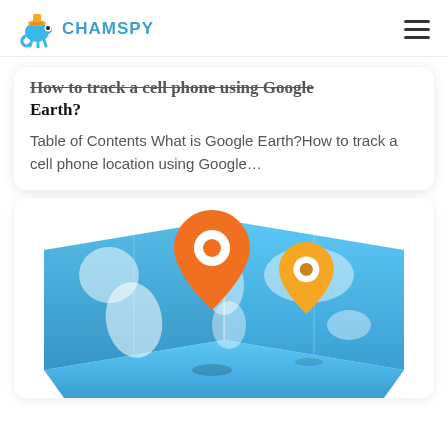CHAMSPY
How to track a cell phone using Google Earth?
Table of Contents What is Google Earth?How to track a cell phone location using Google...
[Figure (illustration): A stylized folded world map with a large orange location pin and a smaller yellow/gold location pin placed on it, representing GPS tracking or cell phone location tracking.]